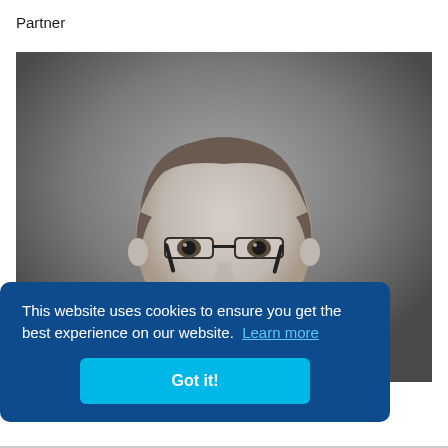Partner
[Figure (photo): Black and white professional headshot of a middle-aged man with glasses, wearing a dark suit and tie, smiling at the camera against a grey gradient background.]
This website uses cookies to ensure you get the best experience on our website. Learn more
Got it!